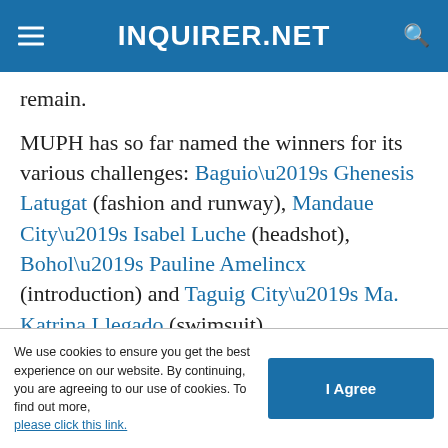INQUIRER.NET
remain.
MUPH has so far named the winners for its various challenges: Baguio’s Ghenesis Latugat (fashion and runway), Mandaue City’s Isabel Luche (headshot), Bohol’s Pauline Amelincx (introduction) and Taguig City’s Ma. Katrina Llegado (swimsuit).
ADVERTISEMENT
We use cookies to ensure you get the best experience on our website. By continuing, you are agreeing to our use of cookies. To find out more, please click this link.